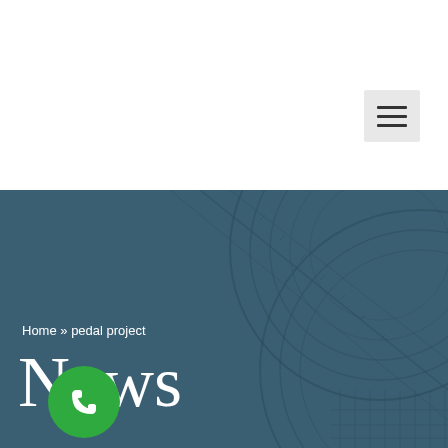[Figure (screenshot): White top navigation bar with hamburger menu button on the right side]
[Figure (photo): Hero section with dark blue-teal overlay on a background image of barbed wire / razor wire fencing, with breadcrumb navigation and large News title]
Home » pedal project
News